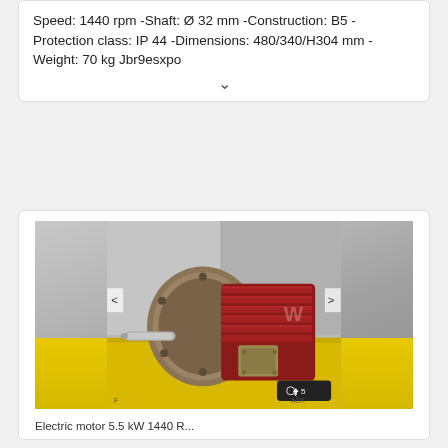Speed: 1440 rpm -Shaft: Ø 32 mm -Construction: B5 -Protection class: IP 44 -Dimensions: 480/340/H304 mm -Weight: 70 kg Jbr9esxpo
[Figure (photo): Photograph of a red electric motor with a circular flange mount on the left and a protruding cylindrical shaft, placed on a yellow surface against a grey concrete wall background. Navigation arrows (< >) are visible on left and right edges. A watermark logo is visible on the motor body. Bottom-right shows a dark button with '5' and an upload icon.]
Electric motor 5.5 kW 1440 R...